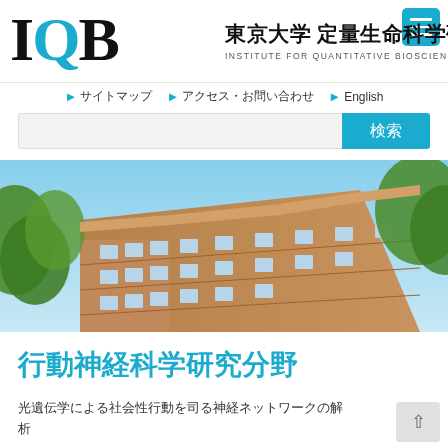[Figure (logo): IQB logo with large bold serif letters I, Q (blue), B alongside Japanese text 東京大学 定量生命科学研究所 and English subtitle INSTITUTE FOR QUANTITATIVE BIOSCIENCES]
▶ サイトマップ
▶ アクセス・お問い合わせ
▶ English
[Figure (photo): Exterior photo of a multi-story brick university building (IQB) viewed from below with green trees and blue sky]
行動神経科学研究分野
光遺伝学による社会性行動を司る神経ネットワークの解析